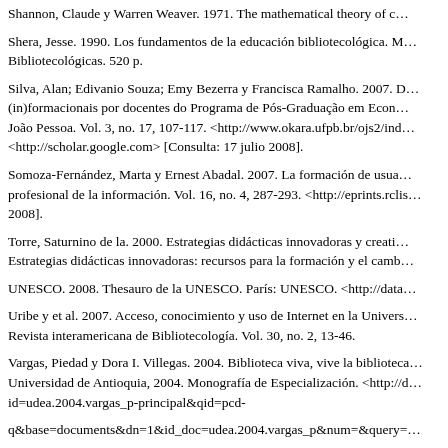Shannon, Claude y Warren Weaver. 1971. The mathematical theory of c…
Shera, Jesse. 1990. Los fundamentos de la educación bibliotecológica. … Bibliotecológicas. 520 p.
Silva, Alan; Edivanio Souza; Emy Bezerra y Francisca Ramalho. 2007. D… (in)formacionais por docentes do Programa de Pós-Graduação em Econ… João Pessoa. Vol. 3, no. 17, 107-117. <http://www.okara.ufpb.br/ojs2/ind… <http://scholar.google.com> [Consulta: 17 julio 2008].
Somoza-Fernández, Marta y Ernest Abadal. 2007. La formación de usua… profesional de la información. Vol. 16, no. 4, 287-293. <http://eprints.rclis… 2008].
Torre, Saturnino de la. 2000. Estrategias didácticas innovadoras y creati… Estrategias didácticas innovadoras: recursos para la formación y el camb…
UNESCO. 2008. Thesauro de la UNESCO. París: UNESCO. <http://data…
Uribe y et al. 2007. Acceso, conocimiento y uso de Internet en la Univers… Revista interamericana de Bibliotecología. Vol. 30, no. 2, 13-46.
Vargas, Piedad y Dora I. Villegas. 2004. Biblioteca viva, vive la biblioteca… Universidad de Antioquia, 2004. Monografía de Especialización. <http://d… id=udea.2004.vargas_p-principal&qid=pcd-
q&base=documents&dn=1&id_doc=udea.2004.vargas_p&num=&query=…
Facultad%20de%2 0Educaci%C3%B3n&isid=udea.2004.vargas_p> [Co…
Williams, Dorothy y Louisa Coles. 2007. Teachers' approaches to finding… persnective. En Educational Research. Vol. 49, no. 2, 185-206. <http://en…